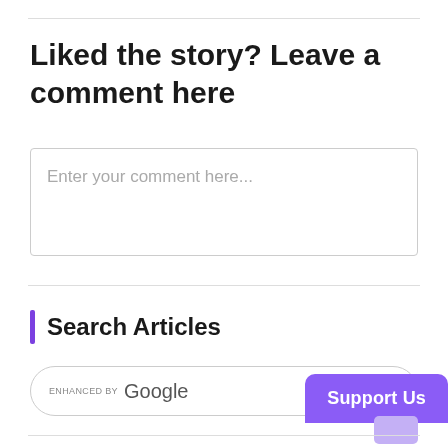Liked the story? Leave a comment here
Enter your comment here...
Search Articles
ENHANCED BY Google
Support Us